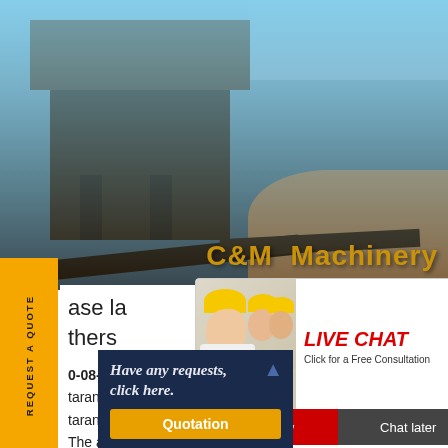[Figure (photo): Industrial machinery/crusher equipment at a desert construction site with blue sky background, branded C&M Machinery]
C&M Machinery
[Figure (infographic): Live chat popup showing construction workers in yellow helmets, with LIVE CHAT heading, 'Click for a Free Consultation' text, and Chat now / Chat later buttons]
[Figure (photo): Customer service representative wearing headset, smiling, with close button]
REQUEST A QUOTE
ase la
thers
0-08-2020· case law lalkua stone cr
taranchal. case law lalkua stone cr
taranchal. HRDC Nainital. P.O. Lal
The applicant, resident of Dehradun,
treatment and disposing wastes in fo
Lal Kuan, Uttrakhand" by Piyush Ma...
Have any requests, click here.
Quotation